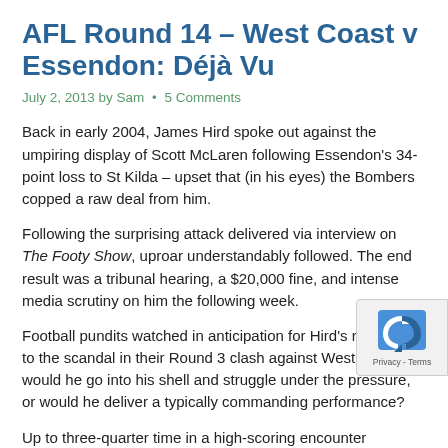AFL Round 14 – West Coast v Essendon: Déjà Vu
July 2, 2013 by Sam • 5 Comments
Back in early 2004, James Hird spoke out against the umpiring display of Scott McLaren following Essendon's 34-point loss to St Kilda – upset that (in his eyes) the Bombers copped a raw deal from him.
Following the surprising attack delivered via interview on The Footy Show, uproar understandably followed. The end result was a tribunal hearing, a $20,000 fine, and intense media scrutiny on him the following week.
Football pundits watched in anticipation for Hird's response to the scandal in their Round 3 clash against West Coast– would he go into his shell and struggle under the pressure, or would he deliver a typically commanding performance?
Up to three-quarter time in a high-scoring encounter (Essendon leading the Eagles 99-98), his influence was respectable, but by no means game-breaking – 19 touches and a goal. Perhaps the extra attention was getting to him.
But if ever there was an occasion for a captain to lift his side, this w
The 30 minutes that followed contained what might well be the best p of Hird's brilliant career. Up against three of the better midfielders of the last